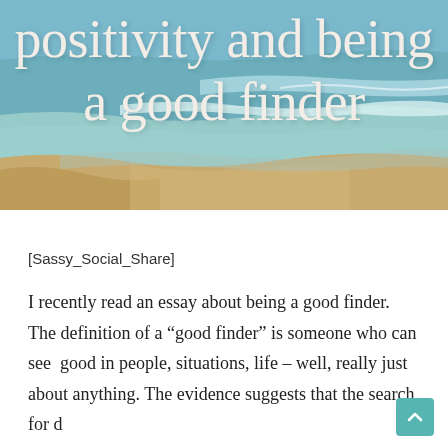[Figure (photo): Beach scene with ocean waves, sandy shore, and turquoise water serving as background for title text overlay.]
positivity and being a good finder
[Sassy_Social_Share]
I recently read an essay about being a good finder. The definition of a “good finder” is someone who can see good in people, situations, life – well, really just about anything. The evidence suggests that the search for d